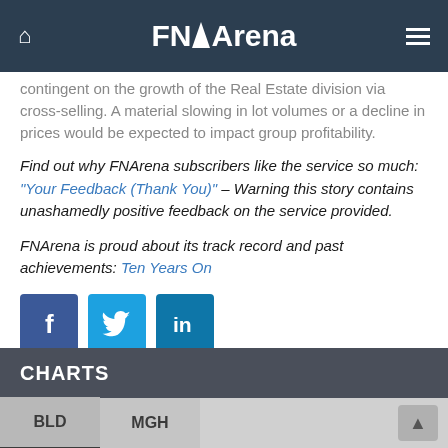FNArena
contingent on the growth of the Real Estate division via cross-selling. A material slowing in lot volumes or a decline in prices would be expected to impact group profitability.
Find out why FNArena subscribers like the service so much: "Your Feedback (Thank You)" – Warning this story contains unashamedly positive feedback on the service provided.
FNArena is proud about its track record and past achievements: Ten Years On
[Figure (other): Social media icons: Facebook, Twitter, LinkedIn]
Click to view our Glossary of Financial Terms
CHARTS
BLD  MGH